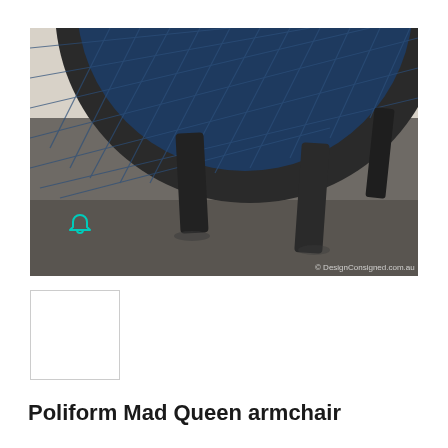[Figure (photo): Close-up photo of a Poliform Mad Queen armchair showing blue quilted diamond-pattern velvet upholstery with dark charcoal/black wooden legs on a grey carpet floor. A small teal/cyan notification bell icon is visible in the lower left of the image. Copyright watermark reads '© DesignConsigned.com.au' in lower right corner.]
[Figure (photo): Small thumbnail image of the same armchair, appears mostly white/blank in this view.]
Poliform Mad Queen armchair